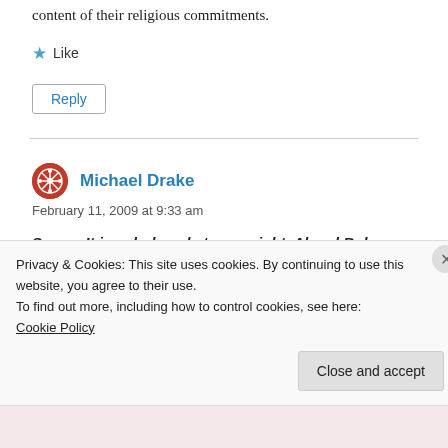content of their religious commitments.
★ Like
Reply
Michael Drake
February 11, 2009 at 9:33 am
Scene: It is a dark and stormy night. Al and Bob are holed up at a camping spot they talked about two
Privacy & Cookies: This site uses cookies. By continuing to use this website, you agree to their use.
To find out more, including how to control cookies, see here:
Cookie Policy
Close and accept